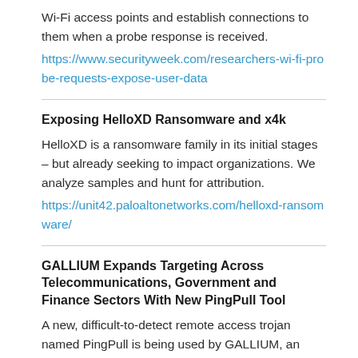Wi-Fi access points and establish connections to them when a probe response is received.
https://www.securityweek.com/researchers-wi-fi-probe-requests-expose-user-data
Exposing HelloXD Ransomware and x4k
HelloXD is a ransomware family in its initial stages – but already seeking to impact organizations. We analyze samples and hunt for attribution.
https://unit42.paloaltonetworks.com/helloxd-ransomware/
GALLIUM Expands Targeting Across Telecommunications, Government and Finance Sectors With New PingPull Tool
A new, difficult-to-detect remote access trojan named PingPull is being used by GALLIUM, an